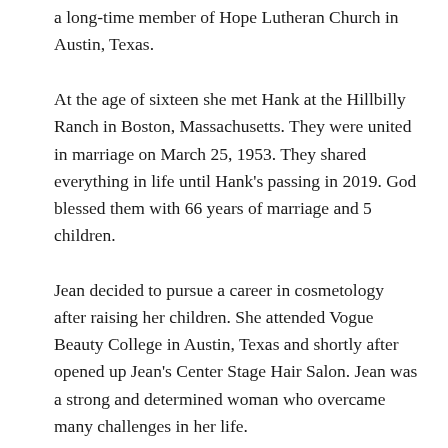a long-time member of Hope Lutheran Church in Austin, Texas.
At the age of sixteen she met Hank at the Hillbilly Ranch in Boston, Massachusetts. They were united in marriage on March 25, 1953. They shared everything in life until Hank's passing in 2019. God blessed them with 66 years of marriage and 5 children.
Jean decided to pursue a career in cosmetology after raising her children. She attended Vogue Beauty College in Austin, Texas and shortly after opened up Jean's Center Stage Hair Salon. Jean was a strong and determined woman who overcame many challenges in her life.
She loved God, family, and friends, and lived by Faith